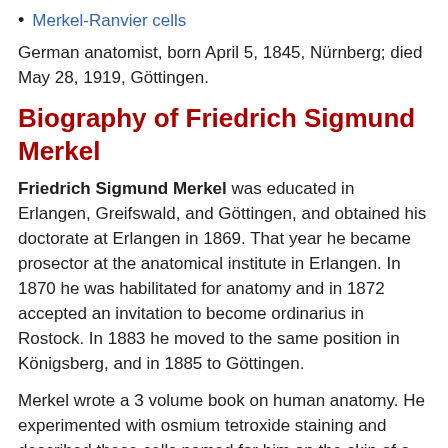Merkel-Ranvier cells
German anatomist, born April 5, 1845, Nürnberg; died May 28, 1919, Göttingen.
Biography of Friedrich Sigmund Merkel
Friedrich Sigmund Merkel was educated in Erlangen, Greifswald, and Göttingen, and obtained his doctorate at Erlangen in 1869. That year he became prosector at the anatomical institute in Erlangen. In 1870 he was habilitated for anatomy and in 1872 accepted an invitation to become ordinarius in Rostock. In 1883 he moved to the same position in Königsberg, and in 1885 to Göttingen.
Merkel wrote a 3 volume book on human anatomy. He experimented with osmium tetroxide staining and described these cells named for him on the skin of a mole and later they were found in human skin.
...